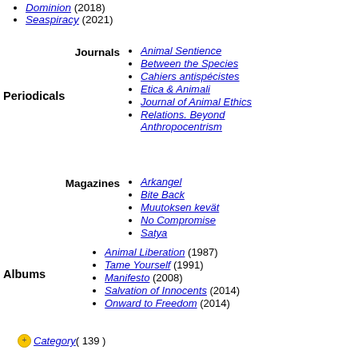Dominion (2018)
Seaspiracy (2021)
Periodicals
Journals
Animal Sentience
Between the Species
Cahiers antispécistes
Etica & Animali
Journal of Animal Ethics
Relations. Beyond Anthropocentrism
Magazines
Arkangel
Bite Back
Muutoksen kevät
No Compromise
Satya
Albums
Animal Liberation (1987)
Tame Yourself (1991)
Manifesto (2008)
Salvation of Innocents (2014)
Onward to Freedom (2014)
Category ( 139 )